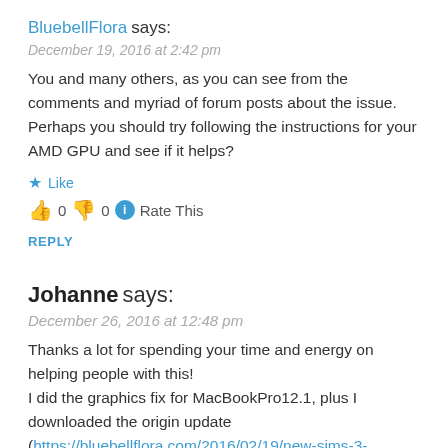BluebellFlora says:
December 19, 2016 at 2:42 pm
You and many others, as you can see from the comments and myriad of forum posts about the issue. Perhaps you should try following the instructions for your AMD GPU and see if it helps?
★ Like
👍 0 👎 0 ℹ Rate This
REPLY
Johanne says:
December 26, 2016 at 12:48 pm
Thanks a lot for spending your time and energy on helping people with this!
I did the graphics fix for MacBookPro12.1, plus I downloaded the origin update (https://bluebellflora.com/2016/02/19/new-sims-3-update-february-2016/…